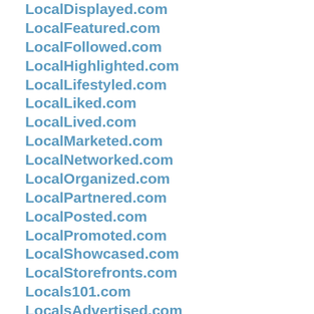LocalDisplayed.com
LocalFeatured.com
LocalFollowed.com
LocalHighlighted.com
LocalLifestyled.com
LocalLiked.com
LocalLived.com
LocalMarketed.com
LocalNetworked.com
LocalOrganized.com
LocalPartnered.com
LocalPosted.com
LocalPromoted.com
LocalShowcased.com
LocalStorefronts.com
Locals101.com
LocalsAdvertised.com
LocalsDaily.com